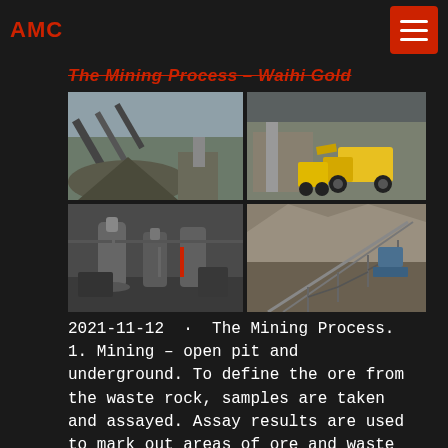AMC
The Mining Process – Waihi Gold
[Figure (photo): Four mining/processing photos arranged in a 2x2 grid: top-left shows a large conveyor belt/crushing plant with piles of ore; top-right shows yellow heavy machinery and a front-loader in a warehouse-like structure; bottom-left shows industrial milling equipment (vertical mills) in a processing plant; bottom-right shows an open-pit or quarry area with conveyor infrastructure and scaffolding.]
2021-11-12 · The Mining Process. 1. Mining – open pit and underground. To define the ore from the waste rock, samples are taken and assayed. Assay results are used to mark out areas of ore and waste rock, which are mined separately. Some of the harder areas require blasting to loosen the rock prior to excavation by hydraulic diggers.